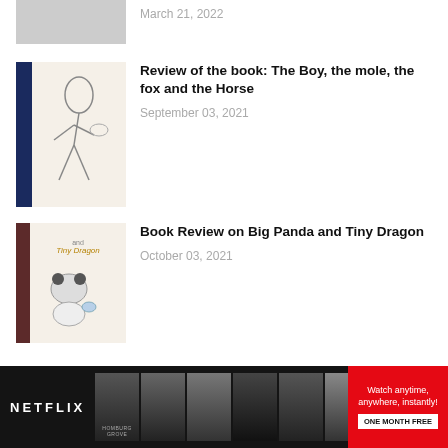[Figure (photo): Partially visible article thumbnail - gray placeholder image at top of page]
March 21, 2022
[Figure (illustration): Book cover thumbnail: The Boy, the mole, the fox and the Horse - illustration of a boy bending down with dark navy spine]
Review of the book: The Boy, the mole, the fox and the Horse
September 03, 2021
[Figure (illustration): Book cover thumbnail: Big Panda and Tiny Dragon - brown spine with text 'and Tiny Dragon' and panda illustration]
Book Review on Big Panda and Tiny Dragon
October 03, 2021
FACEBOOK
SUBSCRIBE US
[Figure (logo): Netflix banner advertisement with Netflix logo, movie poster thumbnails, and 'Watch anytime, anywhere, instantly! ONE MONTH FREE' call to action]